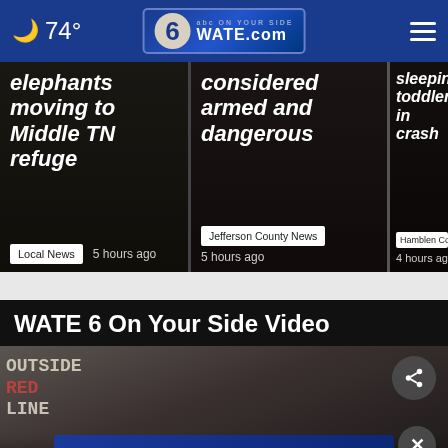74° WATE.com header bar
elephants moving to Middle TN refuge
Local News  5 hours ago
considered armed and dangerous
Jefferson County News  5 hours ago
sleeping toddler in crash
Hamblen County News  4 hours ago
WATE 6 On Your Side Video
[Figure (photo): Video thumbnail showing vintage protest photo with text 'OUTSIDE RED LINE' overlaid, with SHE CAN STEM promotional banner at bottom]